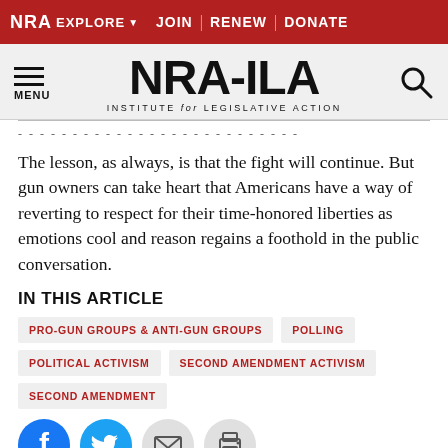NRA EXPLORE ▾  JOIN | RENEW | DONATE
[Figure (logo): NRA-ILA logo with hamburger menu and search icon on light gray header band]
- - - - - - - - - - - - - - - - - - - - - - - - - - - - - - - - - -
The lesson, as always, is that the fight will continue. But gun owners can take heart that Americans have a way of reverting to respect for their time-honored liberties as emotions cool and reason regains a foothold in the public conversation.
IN THIS ARTICLE
PRO-GUN GROUPS & ANTI-GUN GROUPS
POLLING
POLITICAL ACTIVISM
SECOND AMENDMENT ACTIVISM
SECOND AMENDMENT
[Figure (other): Social share icons: Facebook (blue circle), Twitter (cyan circle), Email (gray circle), Print (gray circle)]